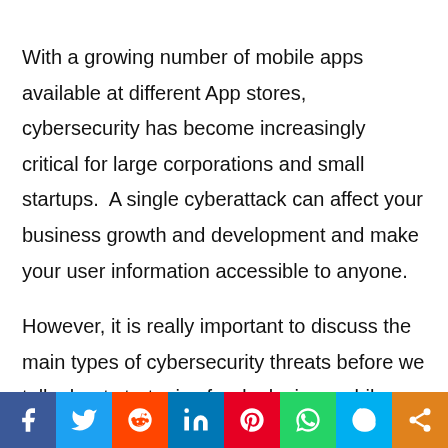With a growing number of mobile apps available at different App stores, cybersecurity has become increasingly critical for large corporations and small startups.  A single cyberattack can affect your business growth and development and make your user information accessible to anyone.
However, it is really important to discuss the main types of cybersecurity threats before we talk about strategies for deploying mobile applications against cyber threats.
[Figure (infographic): Social media share bar with icons for Facebook, Twitter, Reddit, LinkedIn, Pinterest, WhatsApp, Skype, and Share]